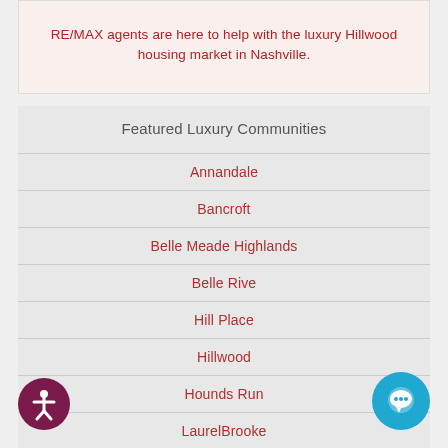RE/MAX agents are here to help with the luxury Hillwood housing market in Nashville.
Featured Luxury Communities
Annandale
Bancroft
Belle Meade Highlands
Belle Rive
Hill Place
Hillwood
Hounds Run
LaurelBrooke
Otter Wood